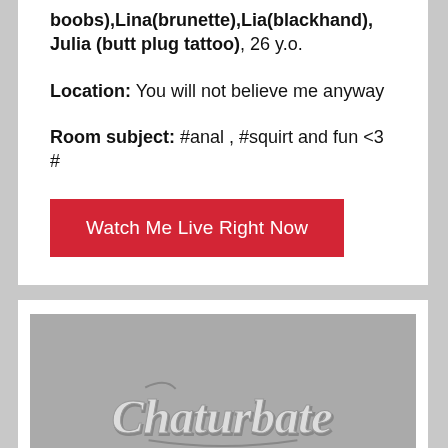boobs),Lina(brunette),Lia(blackhand), Julia (butt plug tattoo), 26 y.o.
Location: You will not believe me anyway
Room subject: #anal , #squirt and fun <3 #
Watch Me Live Right Now
[Figure (screenshot): Chaturbate logo on grey background preview thumbnail]